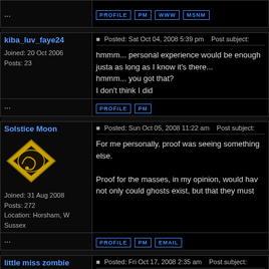...
kiba_luv_faye24
Joined: 20 Oct 2006
Posts: 23
Posted: Sat Oct 04, 2008 5:39 pm   Post subject:
hmmm... personal experience would be enough justa as long as I know it's there...
hmmm... you got that?
I don't think I did
...
Solstice Moon
Joined: 31 Aug 2008
Posts: 272
Location: Horsham, W Sussex
Posted: Sun Oct 05, 2008 11:22 am   Post subject:
For me personally, proof was seeing something else.
Proof for the masses, in my opinion, would have not only could ghosts exist, but that they must
...
little miss zombie
Joined: 16 Oct 2008
Posts: 16
Posted: Fri Oct 17, 2008 2:35 am   Post subject:
Every time when i have experienced something seeing it, feeling it etc, is when someone not a p